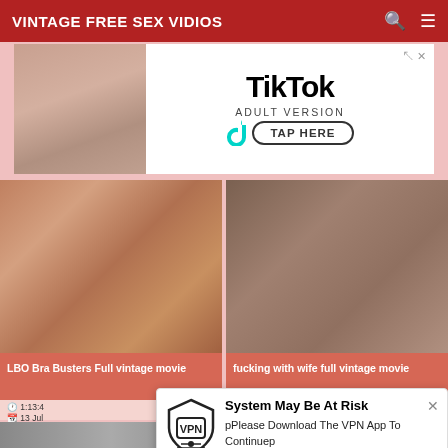VINTAGE FREE SEX VIDIOS
[Figure (screenshot): TikTok Adult Version advertisement banner with image on left and TikTok logo, ADULT VERSION text, and TAP HERE button on right]
[Figure (screenshot): Video thumbnail - LBO Bra Busters Full vintage movie]
[Figure (screenshot): Video thumbnail - fucking with wife full vintage movie]
LBO Bra Busters Full vintage movie
fucking with wife full vintage movie
1:13:4
13 Jul
[Figure (screenshot): System May Be At Risk popup - VPN advertisement with logo and text: Please Download The VPN App To Continue]
[Figure (screenshot): Bottom strip thumbnails]